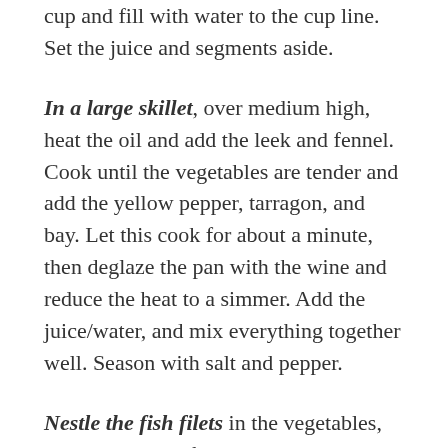cup and fill with water to the cup line. Set the juice and segments aside.
In a large skillet, over medium high, heat the oil and add the leek and fennel. Cook until the vegetables are tender and add the yellow pepper, tarragon, and bay. Let this cook for about a minute, then deglaze the pan with the wine and reduce the heat to a simmer. Add the juice/water, and mix everything together well. Season with salt and pepper.
Nestle the fish filets in the vegetables, cover, and cook for about 8 minutes, or until the fish just starts to flake.
Carefully remove the fish from the pan and